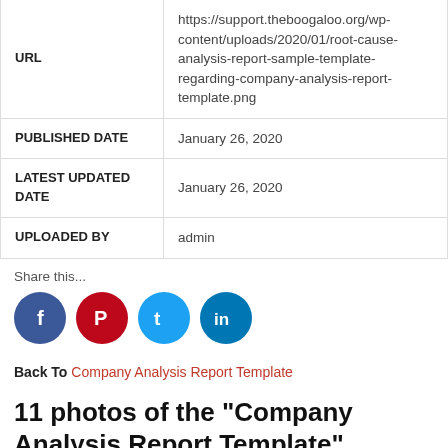| URL | https://support.theboogaloo.org/wp-content/uploads/2020/01/root-cause-analysis-report-sample-template-regarding-company-analysis-report-template.png |
| PUBLISHED DATE | January 26, 2020 |
| LATEST UPDATED DATE | January 26, 2020 |
| UPLOADED BY | admin |
Share this...
[Figure (infographic): Social sharing icons: Facebook, Pinterest, Twitter, LinkedIn]
Back To Company Analysis Report Template
11 photos of the "Company Analysis Report Template"